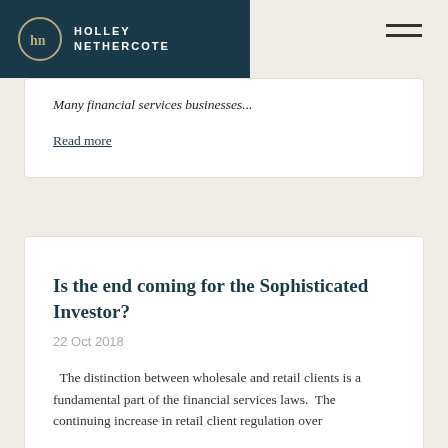Holley Nethercote
Many financial services businesses...
Read more
Is the end coming for the Sophisticated Investor?
22 Oct 2018
The distinction between wholesale and retail clients is a fundamental part of the financial services laws.  The continuing increase in retail client regulation over